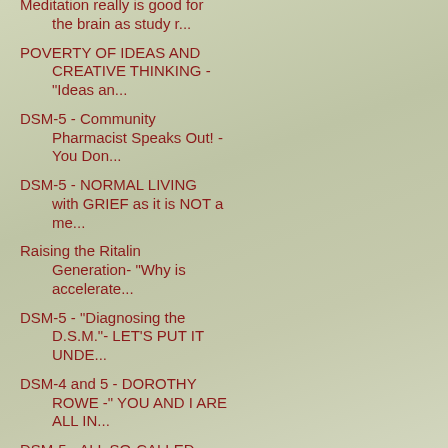Meditation really is good for the brain as study r...
POVERTY OF IDEAS AND CREATIVE THINKING - "Ideas an...
DSM-5 - Community Pharmacist Speaks Out! - You Don...
DSM-5 - NORMAL LIVING with GRIEF as it is NOT a me...
Raising the Ritalin Generation- "Why is accelerate...
DSM-5 - "Diagnosing the D.S.M."- LET'S PUT IT UNDE...
DSM-4 and 5 - DOROTHY ROWE -" YOU AND I ARE ALL IN...
DSM-5 - ALL SO-CALLED MENTAL DISORDERS ARE ARBITRA...